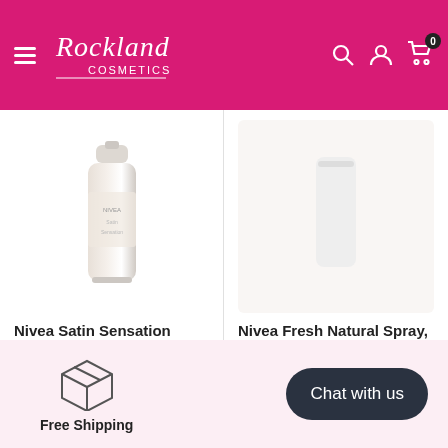Rockland Cosmetics
[Figure (photo): Nivea Satin Sensation Deodorant Spray 200ml product image]
Nivea Satin Sensation Deodorant Spray, 200ml
$8.99
[Figure (photo): Nivea Fresh Natural Deodorant Spray 200ml product image (partial, cropped)]
Nivea Fresh Natural Spray, 200ml
$8.99
[Figure (illustration): Package/box icon indicating free shipping]
Free Shipping
Chat with us